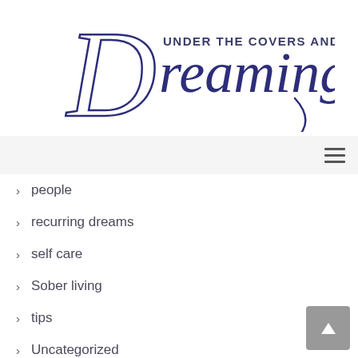[Figure (logo): Under the Covers and Dreaming blog logo with decorative script and serif text in dark purple/navy]
people
recurring dreams
self care
Sober living
tips
Uncategorized
worry
Альбомы для монет
Блэкджек